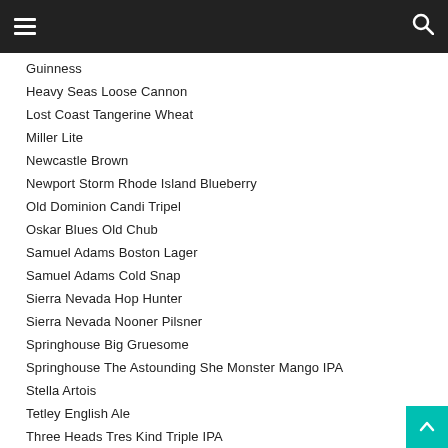Navigation header with hamburger menu and search icon
Guinness
Heavy Seas Loose Cannon
Lost Coast Tangerine Wheat
Miller Lite
Newcastle Brown
Newport Storm Rhode Island Blueberry
Old Dominion Candi Tripel
Oskar Blues Old Chub
Samuel Adams Boston Lager
Samuel Adams Cold Snap
Sierra Nevada Hop Hunter
Sierra Nevada Nooner Pilsner
Springhouse Big Gruesome
Springhouse The Astounding She Monster Mango IPA
Stella Artois
Tetley English Ale
Three Heads Tres Kind Triple IPA